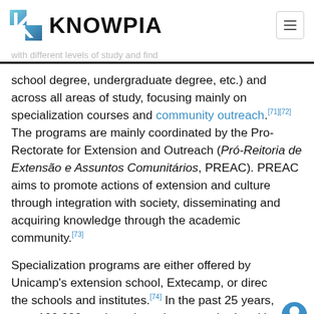[Figure (logo): Knowpia logo with blue geometric K icon and bold KNOWPIA text]
school degree, undergraduate degree, etc.) and across all areas of study, focusing mainly on specialization courses and community outreach.[71][72] The programs are mainly coordinated by the Pro-Rectorate for Extension and Outreach (Pró-Reitoria de Extensão e Assuntos Comunitários, PREAC). PREAC aims to promote actions of extension and culture through integration with society, disseminating and acquiring knowledge through the academic community.[73]
Specialization programs are either offered by Unicamp's extension school, Extecamp, or directly by the schools and institutes.[74] In the past 25 years, over 100,000 students have been reached and in